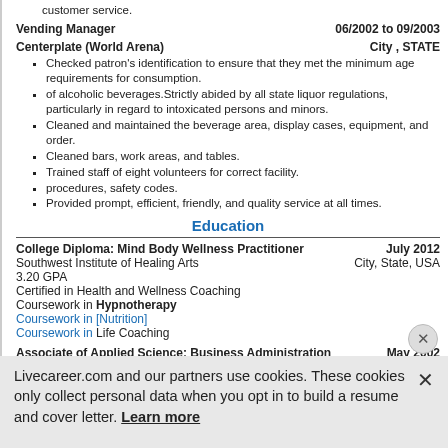customer service.
Vending Manager   06/2002 to 09/2003
Centerplate (World Arena)   City , STATE
Checked patron's identification to ensure that they met the minimum age requirements for consumption.
of alcoholic beverages.Strictly abided by all state liquor regulations, particularly in regard to intoxicated persons and minors.
Cleaned and maintained the beverage area, display cases, equipment, and order.
Cleaned bars, work areas, and tables.
Trained staff of eight volunteers for correct facility.
procedures, safety codes.
Provided prompt, efficient, friendly, and quality service at all times.
Education
College Diploma: Mind Body Wellness Practitioner   July 2012
Southwest Institute of Healing Arts   City, State, USA
3.20 GPA
Certified in Health and Wellness Coaching
Coursework in Hypnotherapy
Coursework in [Nutrition]
Coursework in Life Coaching
Associate of Applied Science: Business Administration   May 2002
Pikes Peak Community College   City, State, USA
Coursework includes Economics
Coursework includes Organizational Communications